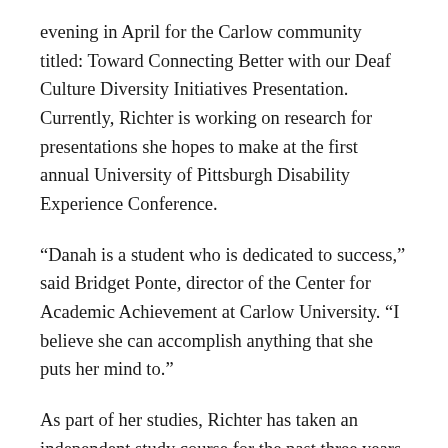evening in April for the Carlow community titled: Toward Connecting Better with our Deaf Culture Diversity Initiatives Presentation. Currently, Richter is working on research for presentations she hopes to make at the first annual University of Pittsburgh Disability Experience Conference.
“Danah is a student who is dedicated to success,” said Bridget Ponte, director of the Center for Academic Achievement at Carlow University. “I believe she can accomplish anything that she puts her mind to.”
As part of her studies, Richter has taken an independent study course for the past three years. The